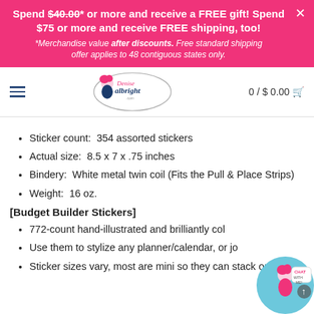Spend $40.00* or more and receive a FREE gift! Spend $75 or more and receive FREE shipping, too! *Merchandise value after discounts. Free standard shipping offer applies to 48 contiguous states only.
[Figure (logo): Denise Albright logo - oval with illustrated woman with pink hair and cursive text]
0 / $0.00
Sticker count:  354 assorted stickers
Actual size:  8.5 x 7 x .75 inches
Bindery:  White metal twin coil (Fits the Pull & Place Strips)
Weight:  16 oz.
[Budget Builder Stickers]
772-count hand-illustrated and brilliantly col…
Use them to stylize any planner/calendar, or jo…
Sticker sizes vary, most are mini so they can stack on